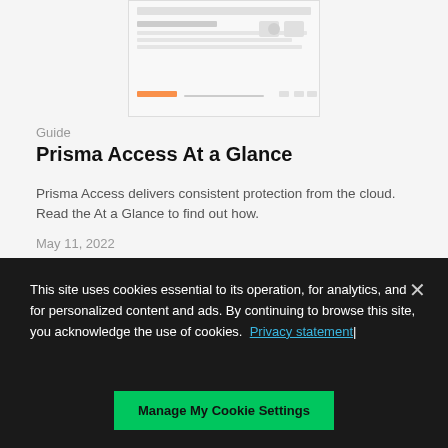[Figure (screenshot): Thumbnail preview of the Prisma Access At a Glance document]
Guide
Prisma Access At a Glance
Prisma Access delivers consistent protection from the cloud. Read the At a Glance to find out how.
May 11, 2022
This site uses cookies essential to its operation, for analytics, and for personalized content and ads. By continuing to browse this site, you acknowledge the use of cookies. Privacy statement|
Manage My Cookie Settings